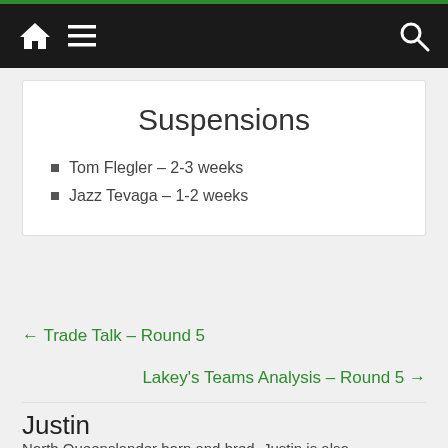Navigation bar with home, menu, and search icons
Suspensions
Tom Flegler – 2-3 weeks
Jazz Tevaga – 1-2 weeks
← Trade Talk – Round 5
Lakey's Teams Analysis – Round 5 →
Justin
North Queenslander born and bred, Justin is also